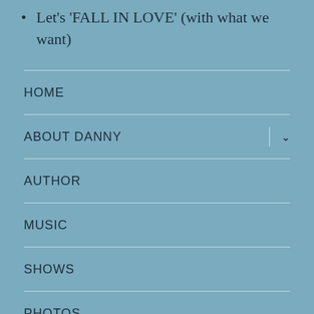Let's 'FALL IN LOVE' (with what we want)
HOME
ABOUT DANNY
AUTHOR
MUSIC
SHOWS
PHOTOS
VIDEOS